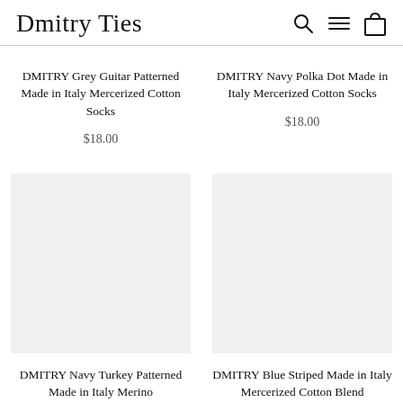Dmitry Ties
DMITRY Grey Guitar Patterned Made in Italy Mercerized Cotton Socks
$18.00
DMITRY Navy Polka Dot Made in Italy Mercerized Cotton Socks
$18.00
DMITRY Navy Turkey Patterned Made in Italy Merino
DMITRY Blue Striped Made in Italy Mercerized Cotton Blend